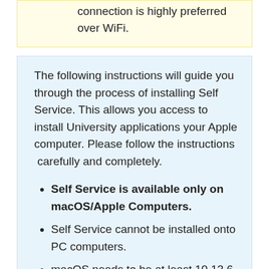connection is highly preferred over WiFi.
The following instructions will guide you through the process of installing Self Service. This allows you access to install University applications your Apple computer. Please follow the instructions carefully and completely.
Self Service is available only on macOS/Apple Computers.
Self Service cannot be installed onto PC computers.
macOS needs to be at least 10.13.6.